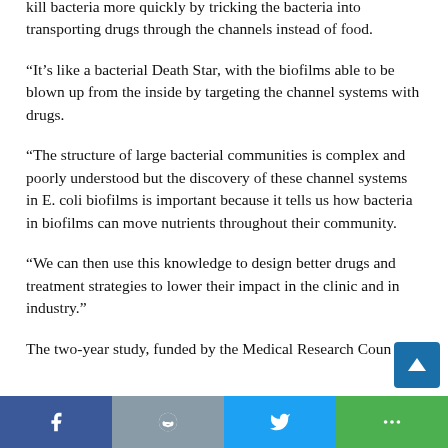kill bacteria more quickly by tricking the bacteria into transporting drugs through the channels instead of food.
“It’s like a bacterial Death Star, with the biofilms able to be blown up from the inside by targeting the channel systems with drugs.
“The structure of large bacterial communities is complex and poorly understood but the discovery of these channel systems in E. coli biofilms is important because it tells us how bacteria in biofilms can move nutrients throughout their community.
“We can then use this knowledge to design better drugs and treatment strategies to lower their impact in the clinic and in industry.”
The two-year study, funded by the Medical Research Coun…